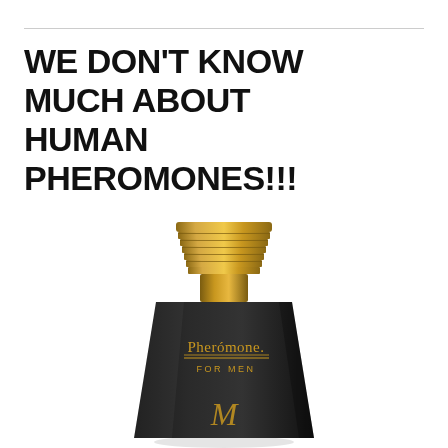WE DON'T KNOW MUCH ABOUT HUMAN PHEROMONES!!!
[Figure (photo): A black and gold perfume/cologne bottle labeled 'Pheromone. FOR MEN' with a ridged gold cap, shown from a slight angle against a white background. The bottle has a trapezoidal shape and gold lettering.]